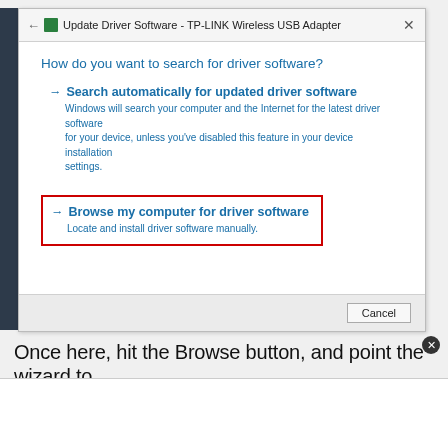[Figure (screenshot): Windows dialog box titled 'Update Driver Software - TP-LINK Wireless USB Adapter' showing two options: 'Search automatically for updated driver software' and 'Browse my computer for driver software' (highlighted with a red border). A Cancel button is at the bottom right.]
Once here, hit the Browse button, and point the wizard to